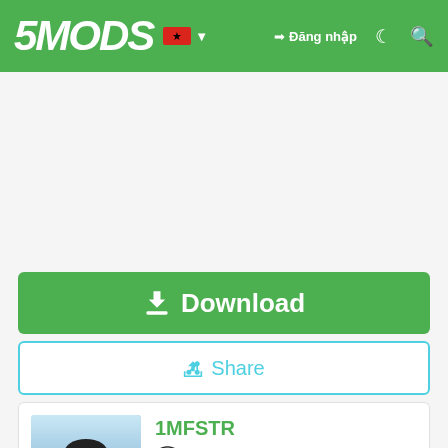5MODS — Đăng nhập
[Figure (other): Advertisement/blank area]
Download
Share
1MFSTR
[Figure (photo): Author avatar photo: person wearing black cap with blue sky background]
Đóng góp với PayPal
Support me on Patreon